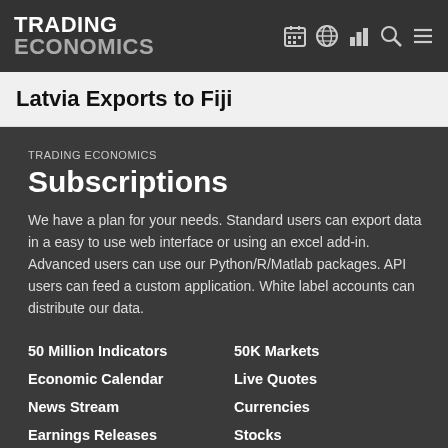TRADING ECONOMICS
Latvia Exports to Fiji
TRADING ECONOMICS Subscriptions
We have a plan for your needs. Standard users can export data in a easy to use web interface or using an excel add-in. Advanced users can use our Python/R/Matlab packages. API users can feed a custom application. White label accounts can distribute our data.
50 Million Indicators
50K Markets
Economic Calendar
Live Quotes
News Stream
Currencies
Earnings Releases
Stocks
Credit Ratings
Commodities
Forecasts
Bonds